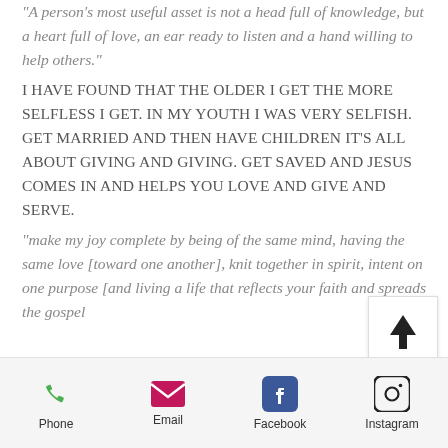“A person’s most useful asset is not a head full of knowledge, but a heart full of love, an ear ready to listen and a hand willing to help others.”
I HAVE FOUND THAT THE OLDER I GET THE MORE SELFLESS I GET. IN MY YOUTH I WAS VERY SELFISH. GET MARRIED AND THEN HAVE CHILDREN IT’S ALL ABOUT GIVING AND GIVING. GET SAVED AND JESUS COMES IN AND HELPS YOU LOVE AND GIVE AND SERVE.
“make my joy complete by being of the same mind, having the same love [toward one another], knit together in spirit, intent on one purpose [and living a life that reflects your faith and spreads the gospel
[Figure (other): Scroll-to-top arrow button in a white box with border]
Phone  Email  Facebook  Instagram